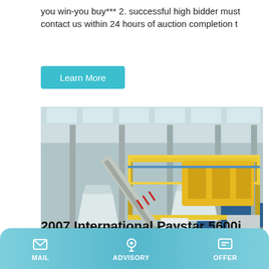you win-you buy*** 2. successful high bidder must contact us within 24 hours of auction completion t
Learn More
[Figure (photo): Industrial concrete batching plant or mixing equipment inside a large warehouse/factory. The machinery includes white hoppers, a yellow mixing unit elevated on a steel frame platform with yellow railings, and a conveyor belt system. The factory has high ceilings with skylights.]
2007 International Paystar 5600i
MAIL   ADVISORY   OFFER